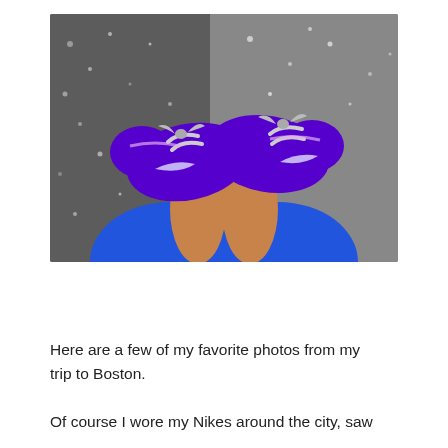[Figure (photo): Overhead view of a person's feet wearing bright purple Nike sneakers with white laces, blue pants visible, standing on grey asphalt/pavement.]
Here are a few of my favorite photos from my trip to Boston.
Of course I wore my Nikes around the city, saw